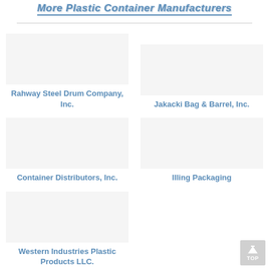More Plastic Container Manufacturers
Rahway Steel Drum Company, Inc.
Jakacki Bag & Barrel, Inc.
Container Distributors, Inc.
Illing Packaging
Western Industries Plastic Products LLC.